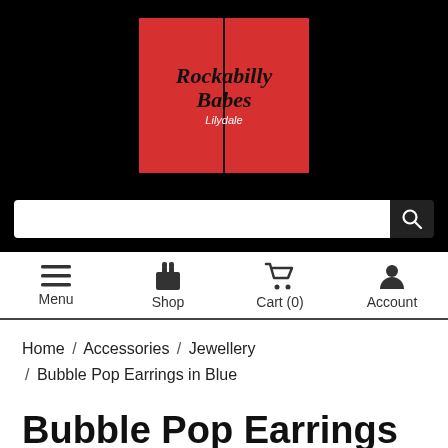[Figure (logo): Rockabilly Babes Lilydale logo — red square background with italic serif text and a vertical black divider line]
Menu  Shop  Cart (0)  Account
Home / Accessories / Jewellery / Bubble Pop Earrings in Blue
Bubble Pop Earrings in Blue